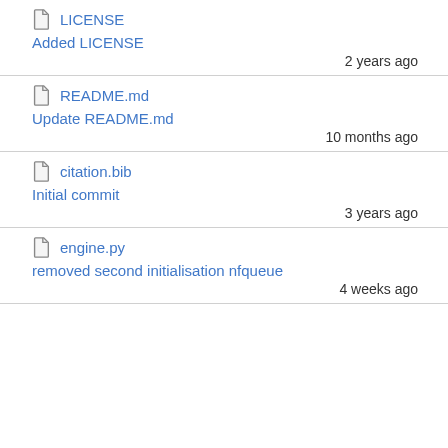LICENSE — Added LICENSE — 2 years ago
README.md — Update README.md — 10 months ago
citation.bib — Initial commit — 3 years ago
engine.py — removed second initialisation nfqueue — 4 weeks ago